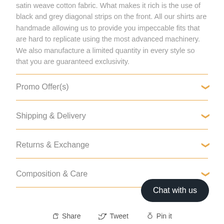satin weave cotton fabric. What makes it rich is the use of black and grey diagonal strips on the front. All our shirts are handmade allowing us to provide you impeccable fits that are hard to replicate using the most advanced machinery. We also manufacture a limited quantity in every style so that you are guaranteed exclusivity.
Promo Offer(s)
Shipping & Delivery
Returns & Exchange
Composition & Care
Chat with us
Share  Tweet  Pin it